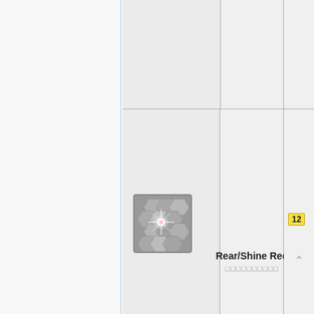[Figure (screenshot): Application UI screenshot showing a grid/list interface. Left panel is light gray with a blue vertical line. Right side shows a grid with two rows of cells. Bottom row contains a thumbnail image (hexagonal pattern with star burst effect) labeled 'Rear/Shine Red' with Japanese text subtitle, a yellow badge with number 12, and an up-arrow chevron icon.]
Rear/Shine Red
□□□□□□□□□□